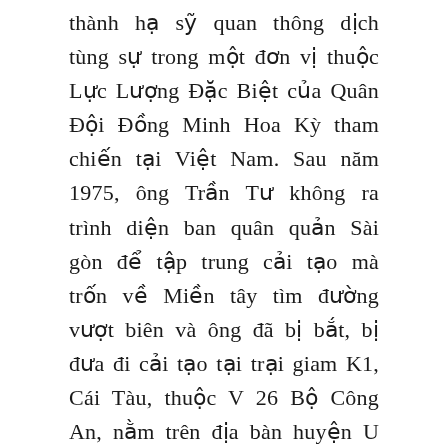thành hạ sỹ quan thông dịch tùng sự trong một đơn vị thuộc Lực Lượng Đặc Biệt của Quân Đội Đồng Minh Hoa Kỳ tham chiến tại Việt Nam. Sau năm 1975, ông Trần Tư không ra trình diện ban quân quản Sài gòn để tập trung cải tạo mà trốn về Miền tây tìm đường vượt biên và ông đã bị bắt, bị đưa đi cải tạo tại trại giam K1, Cái Tàu, thuộc V 26 Bộ Công An, nằm trên địa bàn huyện U Minh, tỉnh Minh Hải